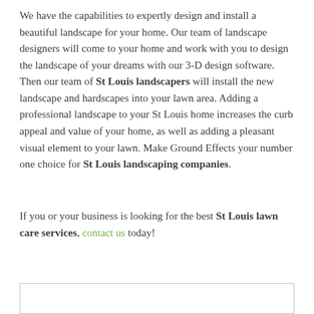We have the capabilities to expertly design and install a beautiful landscape for your home. Our team of landscape designers will come to your home and work with you to design the landscape of your dreams with our 3-D design software. Then our team of St Louis landscapers will install the new landscape and hardscapes into your lawn area. Adding a professional landscape to your St Louis home increases the curb appeal and value of your home, as well as adding a pleasant visual element to your lawn. Make Ground Effects your number one choice for St Louis landscaping companies.
If you or your business is looking for the best St Louis lawn care services, contact us today!